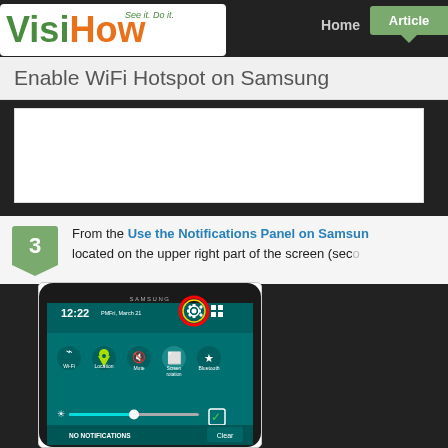VisiHow — See it. Do it. | Home | Articles
Enable WiFi Hotspot on Samsung
[Figure (screenshot): Advertisement placeholder area]
3 From the Use the Notifications Panel on Samsung... located on the upper right part of the screen (seco...
[Figure (screenshot): Samsung Galaxy phone showing notifications panel with settings gear icon highlighted in red circle, time 12:22 PM Fri March 21, quick settings icons for WiFi, Location, Mute, Screen rotation, Bluetooth, and NO NOTIFICATIONS / Clear at bottom]